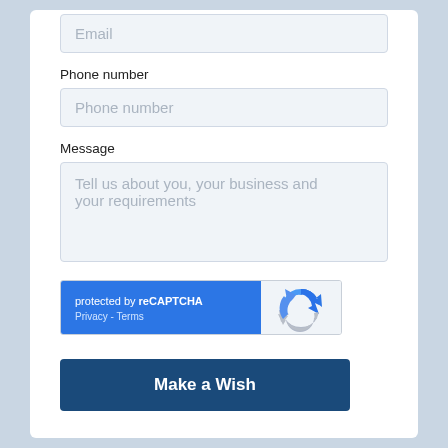Email
Phone number
Phone number
Message
Tell us about you, your business and your requirements
[Figure (screenshot): reCAPTCHA widget showing 'protected by reCAPTCHA' with Privacy and Terms links on a blue background, and the reCAPTCHA logo on white background]
Make a Wish